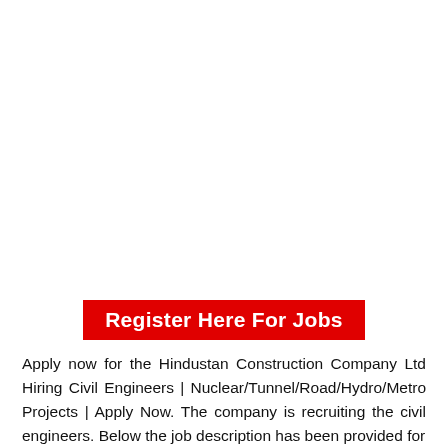Register Here For Jobs
Apply now for the Hindustan Construction Company Ltd Hiring Civil Engineers | Nuclear/Tunnel/Road/Hydro/Metro Projects | Apply Now. The company is recruiting the civil engineers. Below the job description has been provided for